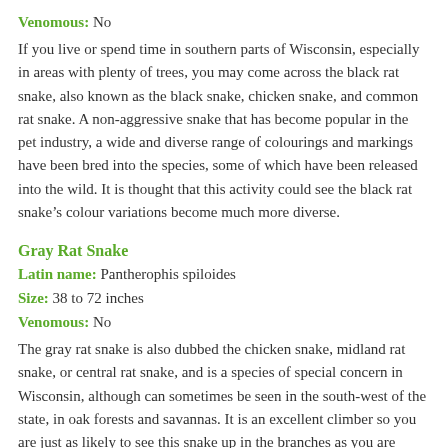Venomous: No
If you live or spend time in southern parts of Wisconsin, especially in areas with plenty of trees, you may come across the black rat snake, also known as the black snake, chicken snake, and common rat snake. A non-aggressive snake that has become popular in the pet industry, a wide and diverse range of colourings and markings have been bred into the species, some of which have been released into the wild. It is thought that this activity could see the black rat snake’s colour variations become much more diverse.
Gray Rat Snake
Latin name: Pantherophis spiloides
Size: 38 to 72 inches
Venomous: No
The gray rat snake is also dubbed the chicken snake, midland rat snake, or central rat snake, and is a species of special concern in Wisconsin, although can sometimes be seen in the south-west of the state, in oak forests and savannas. It is an excellent climber so you are just as likely to see this snake up in the branches as you are down on the ground — and it is becoming more and more